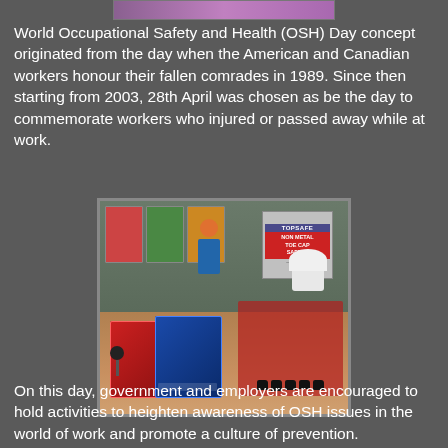[Figure (photo): Partial top strip of an image, showing purple/pink colors, cropped at the top of the page]
World Occupational Safety and Health (OSH) Day concept originated from the day when the American and Canadian workers honour their fallen comrades in 1989. Since then starting from 2003, 28th April was chosen as be the day to commemorate workers who injured or passed away while at work.
[Figure (photo): Photo of a safety equipment exhibition display showing mannequins with safety gear, helmets, shoes, and a TOPSAFE NON METAL TOE CAP SAFETY sign, along with safety posters on the wall in the background]
On this day, government and employers are encouraged to hold activities to heighten awareness of OSH issues in the world of work and promote a culture of prevention.